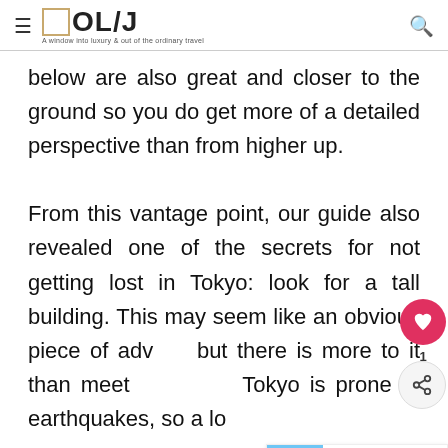OL/J — A window into luxury & out of the ordinary travel
below are also great and closer to the ground so you do get more of a detailed perspective than from higher up.

From this vantage point, our guide also revealed one of the secrets for not getting lost in Tokyo: look for a tall building. This may seem like an obvious piece of adv... but there is more to it than meet... Tokyo is prone to earthquakes, so a lot...